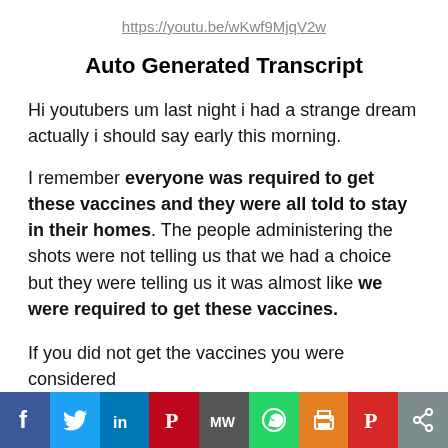https://youtu.be/wKwf9MjqV2w
Auto Generated Transcript
Hi youtubers um last night i had a strange dream actually i should say early this morning.
I remember everyone was required to get these vaccines and they were all told to stay in their homes. The people administering the shots were not telling us that we had a choice but they were telling us it was almost like we were required to get these vaccines.
If you did not get the vaccines you were considered